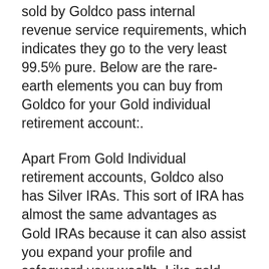sold by Goldco pass internal revenue service requirements, which indicates they go to the very least 99.5% pure. Below are the rare-earth elements you can buy from Goldco for your Gold individual retirement account:.
Apart From Gold Individual retirement accounts, Goldco also has Silver IRAs. This sort of IRA has almost the same advantages as Gold IRAs because it can also assist you expand your profile and safeguard your wealth. Like gold, silver stays in high need, which makes it an exceptional financial investment.
Silver is offered at a reduced price than gold, which suggests you can acquire even more for your Precious Metal individual...